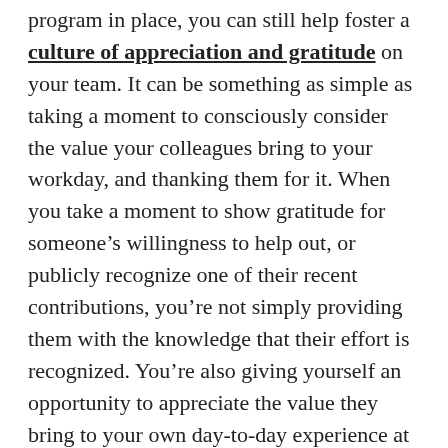program in place, you can still help foster a culture of appreciation and gratitude on your team. It can be something as simple as taking a moment to consciously consider the value your colleagues bring to your workday, and thanking them for it. When you take a moment to show gratitude for someone's willingness to help out, or publicly recognize one of their recent contributions, you're not simply providing them with the knowledge that their effort is recognized. You're also giving yourself an opportunity to appreciate the value they bring to your own day-to-day experience at work. Gratitude is infectious, too. You may find that the more you show gratitude for the contributions your colleagues make, the more gratitude you'll receive from others, and the better you may feel about the time you spend at work.